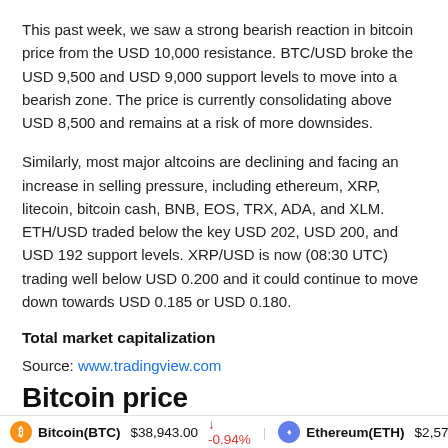This past week, we saw a strong bearish reaction in bitcoin price from the USD 10,000 resistance. BTC/USD broke the USD 9,500 and USD 9,000 support levels to move into a bearish zone. The price is currently consolidating above USD 8,500 and remains at a risk of more downsides.
Similarly, most major altcoins are declining and facing an increase in selling pressure, including ethereum, XRP, litecoin, bitcoin cash, BNB, EOS, TRX, ADA, and XLM. ETH/USD traded below the key USD 202, USD 200, and USD 192 support levels. XRP/USD is now (08:30 UTC) trading well below USD 0.200 and it could continue to move down towards USD 0.185 or USD 0.180.
Total market capitalization
Source: www.tradingview.com
Bitcoin price
Bitcoin(BTC) $38,943.00 -0.94%   Ethereum(ETH) $2,575.48